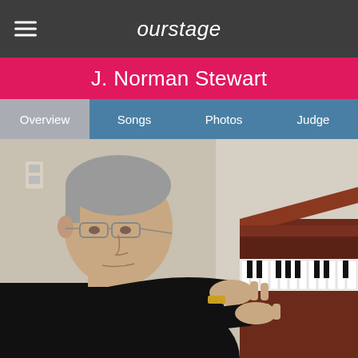ourstage
J. Norman Stewart
Overview
Songs
Photos
Judge
[Figure (photo): An older man with gray hair and glasses, wearing a black shirt, playing a mahogany upright piano. He is seated, looking down at the keys, with his hands on the keyboard. The background is a light-colored wall.]